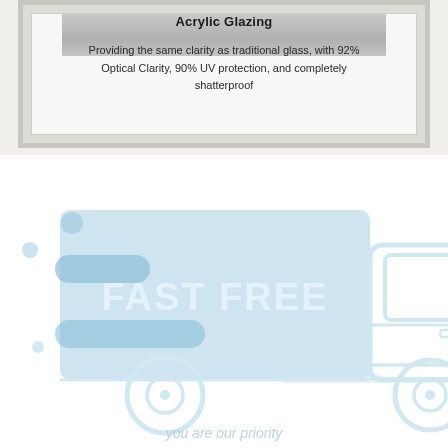Acrylic Glazing
Providing the same clarity as traditional glass, with 92% Optical Clarity, 90% UV protection, and completely shatterproof
[Figure (illustration): A faded light-blue illustration of a delivery truck with 'FAST FREE' text and 'you are our priority' tagline below, with decorative dots on the left side]